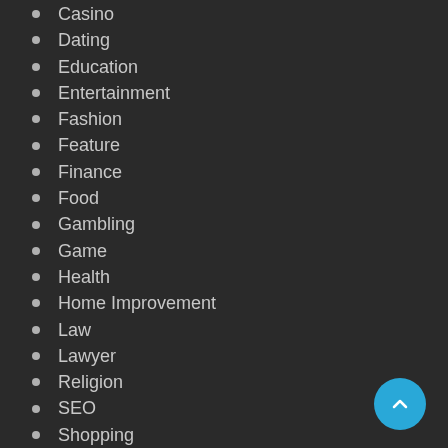Casino
Dating
Education
Entertainment
Fashion
Feature
Finance
Food
Gambling
Game
Health
Home Improvement
Law
Lawyer
Religion
SEO
Shopping
Sports
Technology
Travel
Wedding